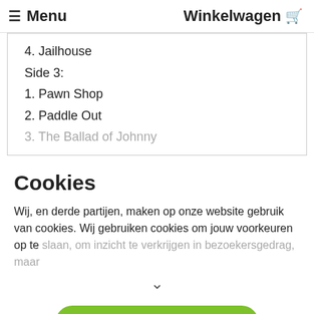≡ Menu   Winkelwagen 🛒
4. Jailhouse
Side 3:
1. Pawn Shop
2. Paddle Out
3. The Ballad of Johnny
Cookies
Wij, en derde partijen, maken op onze website gebruik van cookies. Wij gebruiken cookies om jouw voorkeuren op te slaan, om inzicht te verkrijgen in bezoekersgedrag, maar
∨
Alle cookies accepteren
Cookievoorkeuren